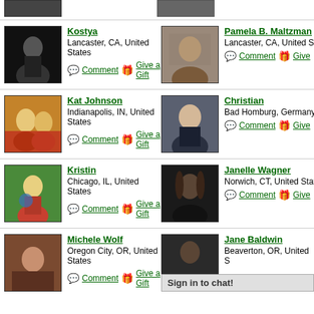[Figure (photo): Partial profile photos row at top]
Kostya
Lancaster, CA, United States
Comment | Give a Gift
[Figure (photo): Kostya profile photo - man in dark background]
Pamela B. Maltzman
Lancaster, CA, United S
Comment | Give
[Figure (photo): Pamela B. Maltzman profile photo]
Kat Johnson
Indianapolis, IN, United States
Comment | Give a Gift
[Figure (photo): Kat Johnson profile photo - two blonde women]
Christian
Bad Homburg, Germany
Comment | Give
[Figure (photo): Christian profile photo - man in suit]
Kristin
Chicago, IL, United States
Comment | Give a Gift
[Figure (photo): Kristin profile photo - blonde woman with sunglasses]
Janelle Wagner
Norwich, CT, United Stat
Comment | Give
[Figure (photo): Janelle Wagner profile photo - dark haired woman]
Michele Wolf
Oregon City, OR, United States
Comment | Give a Gift
[Figure (photo): Michele Wolf profile photo]
Jane Baldwin
Beaverton, OR, United S
[Figure (photo): Jane Baldwin profile photo]
Sign in to chat!